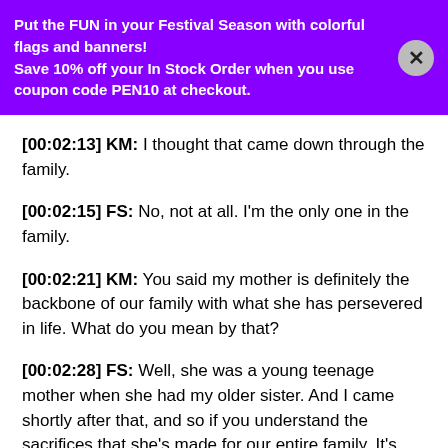[Figure (infographic): Purple promotional banner with white bold text: 'Put the FUN in your Festival Season with colorful flags and banners! Save 10% off your In Stock Order when you use coupon code PEN10 at checkout.' with a grey close (X) button on the right.]
[00:02:13] KM: I thought that came down through the family.
[00:02:15] FS: No, not at all. I'm the only one in the family.
[00:02:21] KM: You said my mother is definitely the backbone of our family with what she has persevered in life. What do you mean by that?
[00:02:28] FS: Well, she was a young teenage mother when she had my older sister. And I came shortly after that, and so if you understand the sacrifices that she's made for our entire family. It's unbelievable. And the things that she's persevered through and she's truly demonstrated not only work ethic but reliability, dependability that has poured into not only my life, but my